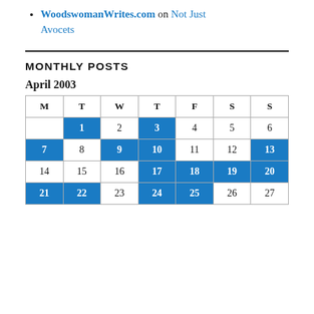WoodswomanWrites.com on Not Just Avocets
| M | T | W | T | F | S | S |
| --- | --- | --- | --- | --- | --- | --- |
|  | 1 | 2 | 3 | 4 | 5 | 6 |
| 7 | 8 | 9 | 10 | 11 | 12 | 13 |
| 14 | 15 | 16 | 17 | 18 | 19 | 20 |
| 21 | 22 | 23 | 24 | 25 | 26 | 27 |